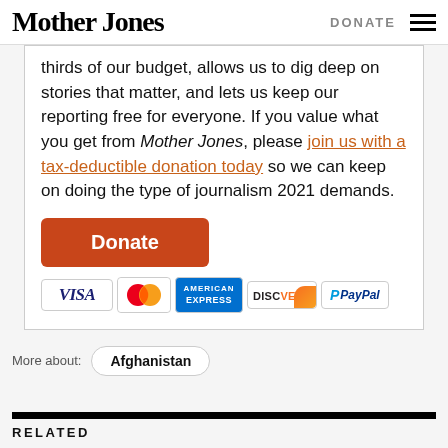Mother Jones | DONATE
thirds of our budget, allows us to dig deep on stories that matter, and lets us keep our reporting free for everyone. If you value what you get from Mother Jones, please join us with a tax-deductible donation today so we can keep on doing the type of journalism 2021 demands.
[Figure (other): Orange Donate button followed by payment method icons: VISA, MasterCard, American Express, Discover, PayPal]
More about: Afghanistan
RELATED